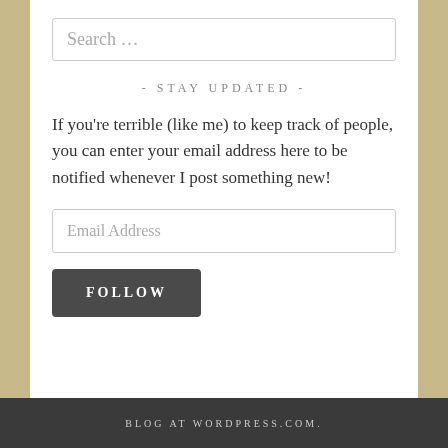Search …
- STAY UPDATED -
If you're terrible (like me) to keep track of people, you can enter your email address here to be notified whenever I post something new!
Email Address
FOLLOW
BLOG AT WORDPRESS.COM.